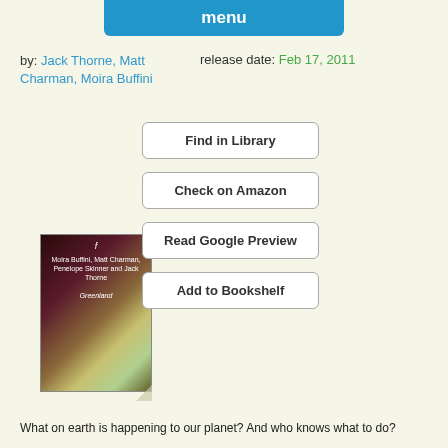menu
by: Jack Thorne, Matt Charman, Moira Buffini
release date: Feb 17, 2011
[Figure (photo): Book cover showing a moody, atmospheric scene with aurora-like lights over a dark landscape. Text on cover reads: Moira Buffini, Matt Charman, Penelope Skinner and Jack Thorne, Greenland]
Find in Library
Check on Amazon
Read Google Preview
Add to Bookshelf
What on earth is happening to our planet? And who knows what to do?